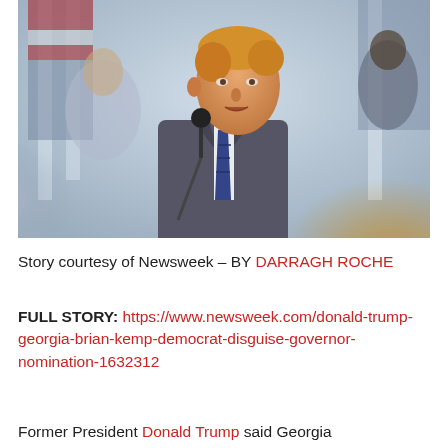[Figure (photo): A man in a dark suit and striped tie speaking at a microphone, photographed outdoors with American flags and columns in the background. Other people are partially visible in the background and foreground.]
Story courtesy of Newsweek – BY DARRAGH ROCHE
FULL STORY: https://www.newsweek.com/donald-trump-georgia-brian-kemp-democrat-disguise-governor-nomination-1632312
Former President Donald Trump said Georgia...